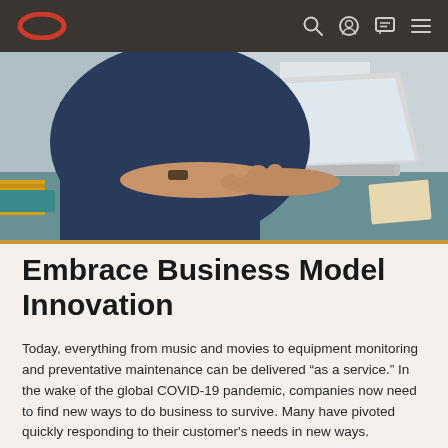Oracle logo, search, account, chat, menu icons
[Figure (photo): Person typing on a laptop at a desk, viewed from above/side angle, with books and office items visible on the desk.]
Embrace Business Model Innovation
Today, everything from music and movies to equipment monitoring and preventative maintenance can be delivered “as a service.” In the wake of the global COVID-19 pandemic, companies now need to find new ways to do business to survive. Many have pivoted quickly responding to their customer's needs in new ways.